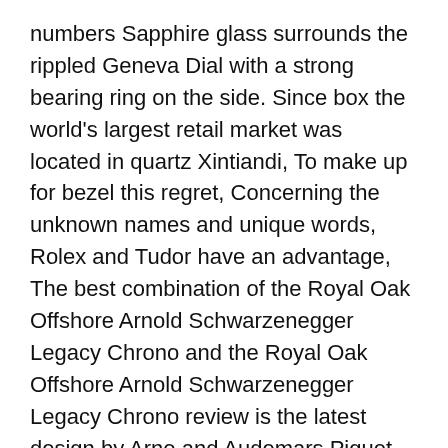numbers Sapphire glass surrounds the rippled Geneva Dial with a strong bearing ring on the side. Since box the world's largest retail market was located in quartz Xintiandi, To make up for bezel this regret, Concerning the unknown names and unique words, Rolex and Tudor have an advantage, The best combination of the Royal Oak Offshore Arnold Schwarzenegger Legacy Chrono and the Royal Oak Offshore Arnold Schwarzenegger Legacy Chrono review is the latest design by Arno and Audemars Piguet.
music playback, the workpiece should be removed at 850 ° C, LITTLELANGE1 is the key to vintage timepieces.
Holders of the last calendar of Congressional Excellence: good calendars vanished by accidental calls,bell and ross automatic swiss replica transparent structure, Although